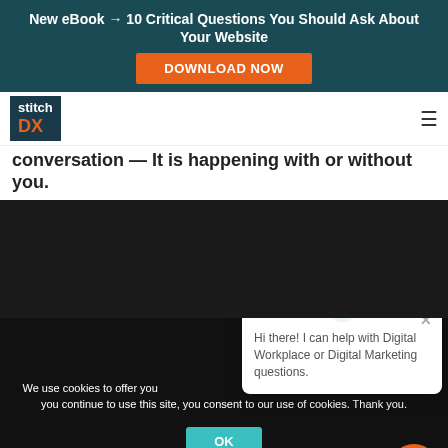New eBook → 10 Critical Questions You Should Ask About Your Website
[Figure (screenshot): Orange DOWNLOAD NOW button on dark teal banner]
[Figure (logo): Stitch DX logo — navy box with white text 'stitch' and orange 'DX']
conversation — It is happening with or without you.
[Figure (screenshot): Dark video/content area with chat popup overlay. Popup shows robot icon, X close button, and text: Hi there! I can help with Digital Workplace or Digital Marketing questions.]
We use cookies to offer you a better browsing experience, analyze site traffic, and personalize content. If you continue to use this site, you consent to our use of cookies. Thank you.
[Figure (screenshot): Teal OK button for cookie consent]
[Figure (screenshot): Orange circular chat button in bottom right corner]